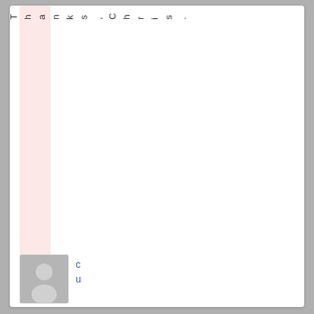Ketlist. Thanks, Chris.
[Figure (illustration): User avatar placeholder showing a generic person silhouette in a grey rounded rectangle]
cu